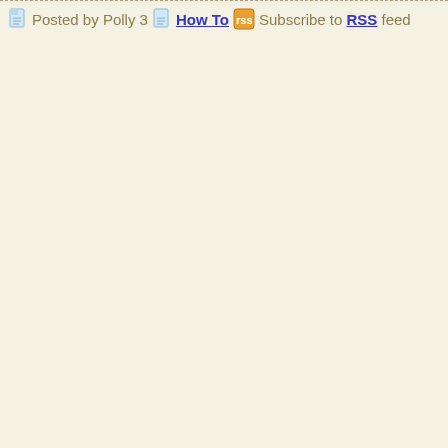Posted by Polly 3  How To  Subscribe to RSS feed